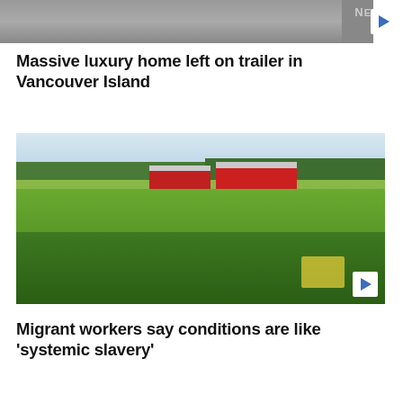[Figure (screenshot): Top thumbnail strip showing a partial vehicle/home image with NE watermark and play button]
Massive luxury home left on trailer in Vancouver Island
[Figure (photo): Farm photo showing green crop fields in foreground with red barns in the background and tree line, with a play button overlay]
Migrant workers say conditions are like 'systemic slavery'